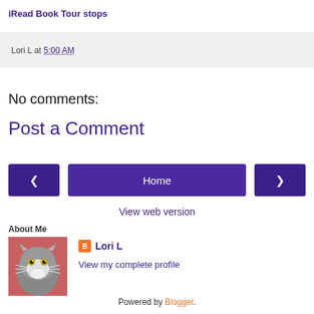iRead Book Tour stops
Lori L at 5:00 AM
No comments:
Post a Comment
[Figure (other): Navigation buttons: left arrow, Home, right arrow]
View web version
About Me
[Figure (photo): Photo of a gray and white cat]
Lori L
View my complete profile
Powered by Blogger.